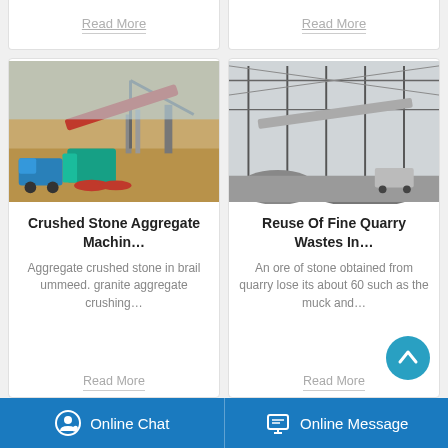Read More
Read More
[Figure (photo): Aerial view of a crushed stone aggregate machine operation with conveyor belts and heavy machinery on a dirt site]
Crushed Stone Aggregate Machin…
Aggregate crushed stone in brail ummeed. granite aggregate crushing…
Read More
[Figure (photo): Interior of a large industrial quarry facility with steel frame structure, conveyor belts and stone piles]
Reuse Of Fine Quarry Wastes In…
An ore of stone obtained from quarry lose its about 60 such as the muck and…
Read More
Online Chat   Online Message